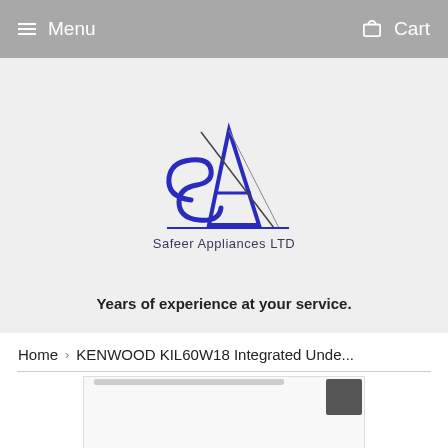Menu   Cart
[Figure (logo): Safeer Appliances LTD logo — stylized 'SA' letters in dark blue with geometric lines, text 'Safeer Appliances LTD' below]
Years of experience at your service.
Home › KENWOOD KIL60W18 Integrated Unde...
[Figure (photo): Product image of KENWOOD KIL60W18 Integrated Under-counter appliance, white with a dark hinge visible at top right]